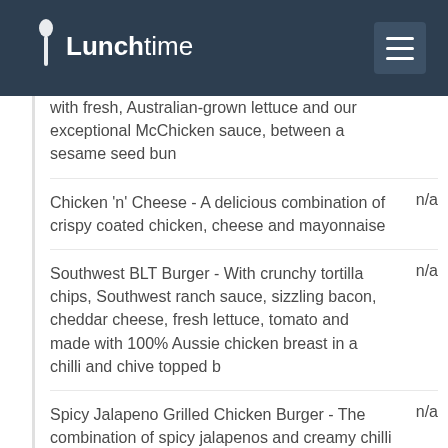Lunchtime
with fresh, Australian-grown lettuce and our exceptional McChicken sauce, between a sesame seed bun
Chicken 'n' Cheese - A delicious combination of crispy coated chicken, cheese and mayonnaise   n/a
Southwest BLT Burger - With crunchy tortilla chips, Southwest ranch sauce, sizzling bacon, cheddar cheese, fresh lettuce, tomato and made with 100% Aussie chicken breast in a chilli and chive topped b   n/a
Spicy Jalapeno Grilled Chicken Burger - The combination of spicy jalapenos and creamy chilli mayo gives this burger a whole new level of flavour. Made with 100% Aussie chicken breast, fresh cos and ic   n/a
Grilled Chicken Bacon Deluxe Burger - Made with   n/a